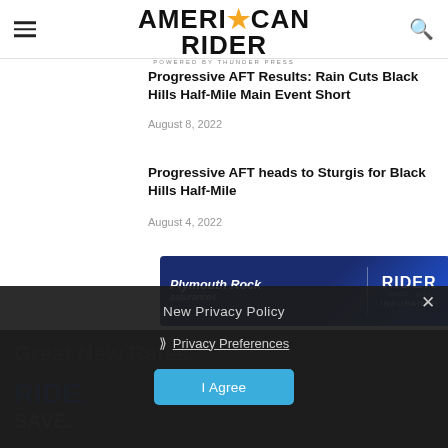American Rider — powered by Thunder Press
Progressive AFT Results: Rain Cuts Black Hills Half-Mile Main Event Short
August 8, 2022
Progressive AFT heads to Sturgis for Black Hills Half-Mile
August 4, 2022
[Figure (other): Plymouth Rock Assurance / Rider Insurance advertisement banner]
[Figure (other): New Privacy Policy overlay with Privacy Preferences link and I Agree button over advertisement background showing Great New Rates. RIDE. SAVE. text]
New Privacy Policy
Privacy Preferences
I Agree